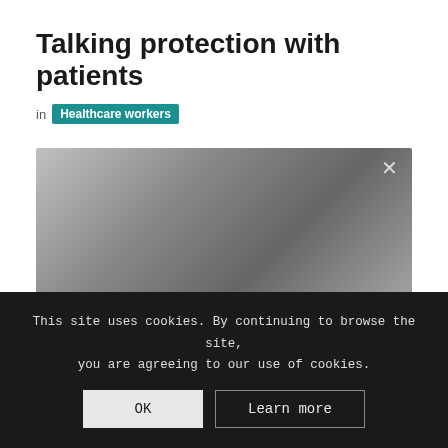Talking protection with patients
in Healthcare workers
[Figure (screenshot): Darkened video player area with a close (X) button in the upper right corner, showing a gray gradient placeholder for a video.]
This site uses cookies. By continuing to browse the site, you are agreeing to our use of cookies.
OK  Learn more